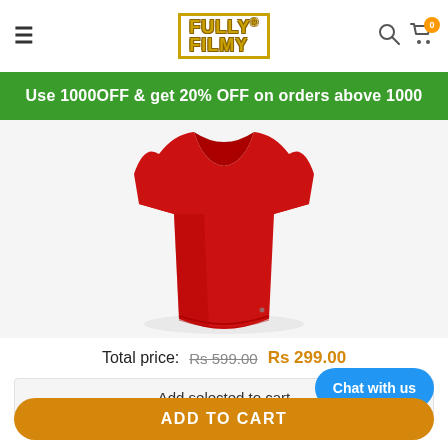≡  FULLY FILMY  🔍 🛒 0
Use 1000OFF & get 20% OFF on orders above 1000
[Figure (photo): Red t-shirt product photo showing the lower half of a red short-sleeve t-shirt on a light grey/white background]
Total price: Rs 599.00  Rs 299.00
Add selected to cart
Chat with us
ADD TO CART